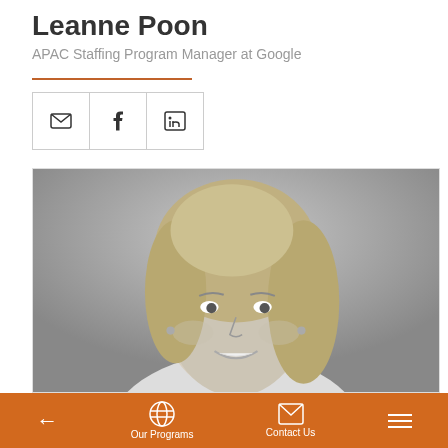Leanne Poon
APAC Staffing Program Manager at Google
[Figure (photo): Black and white profile photo of Leanne Poon, a smiling woman with blonde hair]
← Our Programs  Contact Us  ☰